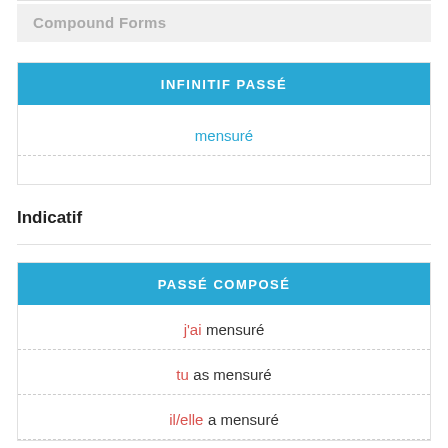Compound Forms
| INFINITIF PASSÉ |
| --- |
| mensuré |
Indicatif
| PASSÉ COMPOSÉ |
| --- |
| j'ai mensuré |
| tu as mensuré |
| il/elle a mensuré |